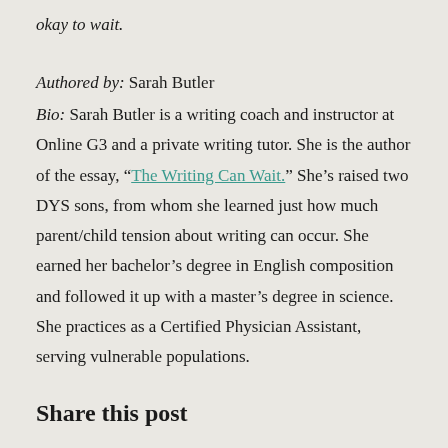okay to wait.
Authored by: Sarah Butler
Bio: Sarah Butler is a writing coach and instructor at Online G3 and a private writing tutor. She is the author of the essay, “The Writing Can Wait.” She’s raised two DYS sons, from whom she learned just how much parent/child tension about writing can occur. She earned her bachelor’s degree in English composition and followed it up with a master’s degree in science. She practices as a Certified Physician Assistant, serving vulnerable populations.
Share this post